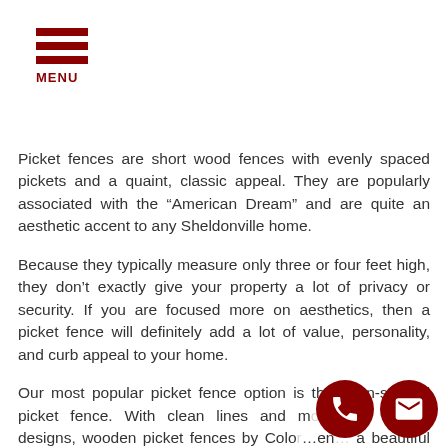[Figure (logo): Hamburger menu icon with three dark red horizontal bars and MENU label below]
Picket fences are short wood fences with evenly spaced pickets and a quaint, classic appeal. They are popularly associated with the “American Dream” and are quite an aesthetic accent to any Sheldonville home.
Because they typically measure only three or four feet high, they don’t exactly give your property a lot of privacy or security. If you are focused more on aesthetics, then a picket fence will definitely add a lot of value, personality, and curb appeal to your home.
Our most popular picket fence option is the open-spaced picket fence. With clean lines and modernly simple designs, wooden picket fences by ColorFen… a beautiful addition to your property.
[Figure (illustration): Two circular dark red contact buttons: phone icon and email/envelope icon, positioned at bottom right]